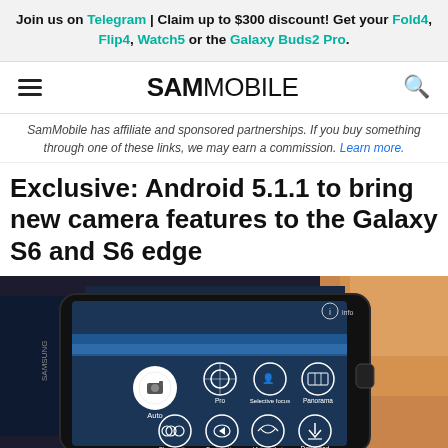Join us on Telegram | Claim up to $300 discount! Get your Fold4, Flip4, Watch5 or the Galaxy Buds2 Pro.
SAMMOBILE
SamMobile has affiliate and sponsored partnerships. If you buy something through one of these links, we may earn a commission. Learn more.
Exclusive: Android 5.1.1 to bring new camera features to the Galaxy S6 and S6 edge
[Figure (photo): Hand holding a Samsung Galaxy S6 smartphone displaying the camera mode selection screen with options: Auto, Pro, Selective focus, Panorama, Slow motion, Fast motion, Virtual shot, Download]